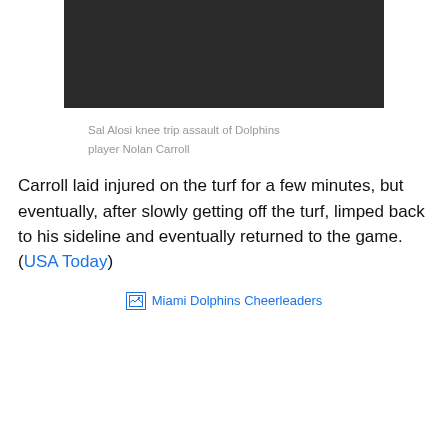[Figure (photo): Video still/screenshot of Sal Alosi knee trip assault of Dolphins player Nolan Carroll, showing football players on a sideline at night]
Sal Alosi knee trip assault of Dolphins player Nolan Carroll
Carroll laid injured on the turf for a few minutes, but eventually, after slowly getting off the turf, limped back to his sideline and eventually returned to the game.(USA Today)
[Figure (photo): Broken image placeholder labeled Miami Dolphins Cheerleaders]